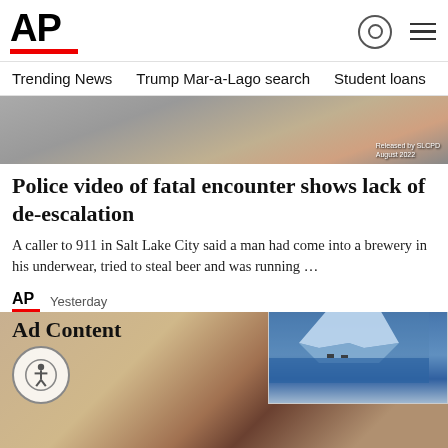[Figure (logo): AP (Associated Press) logo with red underline bar, search icon and hamburger menu icon]
Trending News  Trump Mar-a-Lago search  Student loans  U.S.
[Figure (photo): Hero image showing a close-up of a person's head/shoulder, police body cam style, with overlay text 'Released by SLCPD August 2022']
Police video of fatal encounter shows lack of de-escalation
A caller to 911 in Salt Lake City said a man had come into a brewery in his underwear, tried to steal beer and was running …
[Figure (logo): Small AP logo with red underline]
Yesterday
Ad Content
[Figure (photo): Ad content background image showing stone/adobe wall with a dark wooden post and a white bottle, with an accessibility/wheelchair icon button overlay]
[Figure (screenshot): Video overlay in upper right showing iceberg in blue water with red/gray progress bar and X close button]